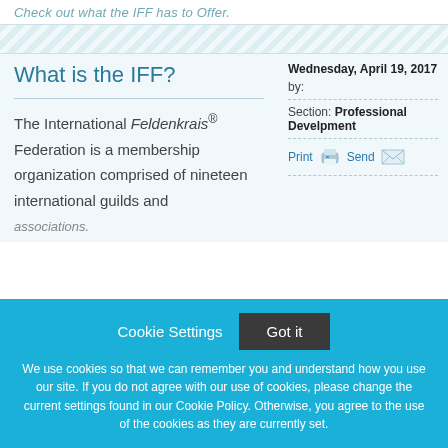Check out what the IFF has to Offer.
What is the IFF?
The International Feldenkrais® Federation is a membership organization comprised of nineteen international guilds and associations.
Wednesday, April 19, 2017
by:
Section: Professional Develpment
Print  Send
We use cookies so that we can remember you and understand how you use our site. If you do not agree with our use of cookies, please change the current settings found in our Cookie Policy. Otherwise, you agree to the use of the cookies as they are currently set.